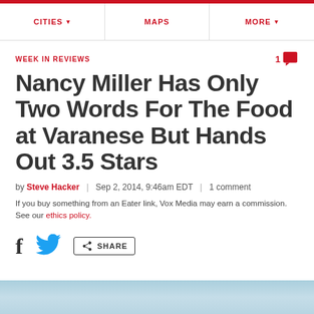CITIES | MAPS | MORE
WEEK IN REVIEWS
Nancy Miller Has Only Two Words For The Food at Varanese But Hands Out 3.5 Stars
by Steve Hacker | Sep 2, 2014, 9:46am EDT | 1 comment
If you buy something from an Eater link, Vox Media may earn a commission. See our ethics policy.
[Figure (infographic): Social sharing buttons: Facebook, Twitter, and Share]